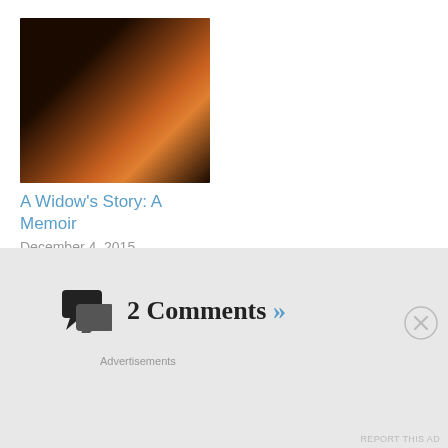[Figure (photo): Book cover photo — dark background with warm amber/orange blurred face or figure]
A Widow's Story: A Memoir
December 4, 2015
POSTED ON MAY 7, 2020 • POSTED IN BOOKS TAGGED #JOYCE CAROL OATES, SHORT STORIES
2 Comments »
Advertisements
REPORT THIS AD